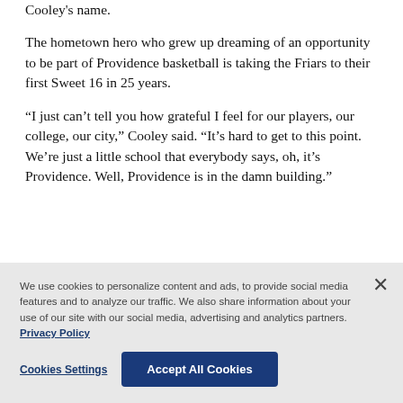Cooley's name.
The hometown hero who grew up dreaming of an opportunity to be part of Providence basketball is taking the Friars to their first Sweet 16 in 25 years.
“I just can’t tell you how grateful I feel for our players, our college, our city,” Cooley said. “It’s hard to get to this point. We’re just a little school that everybody says, oh, it’s Providence. Well, Providence is in the damn building.”
We use cookies to personalize content and ads, to provide social media features and to analyze our traffic. We also share information about your use of our site with our social media, advertising and analytics partners. Privacy Policy
Cookies Settings
Accept All Cookies